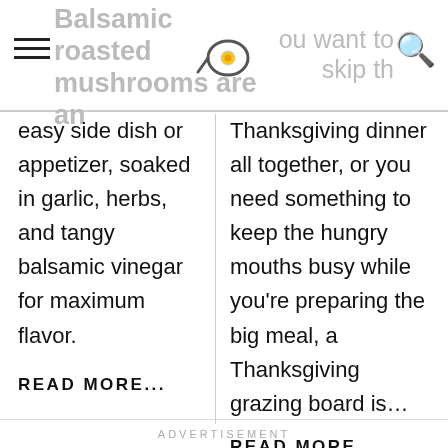Balsamic roasted mushrooms are an
easy side dish or appetizer, soaked in garlic, herbs, and tangy balsamic vinegar for maximum flavor.
READ MORE...
Thanksgiving dinner all together, or you need something to keep the hungry mouths busy while you're preparing the big meal, a Thanksgiving grazing board is...
READ MORE...
ADVERTISEMENT